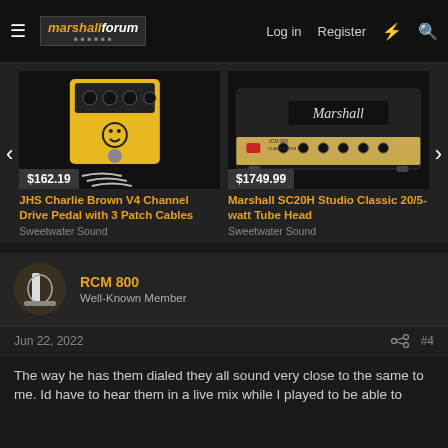Marshall Forum — Log in | Register
[Figure (photo): JHS Charlie Brown V4 Channel Drive Pedal with 3 Patch Cables — yellow guitar pedal with black knobs, price $162.19]
[Figure (photo): Marshall SC20H Studio Classic 20/5-watt Tube Head — black amp head, price $1749.99]
JHS Charlie Brown V4 Channel Drive Pedal with 3 Patch Cables
Sweetwater Sound
Marshall SC20H Studio Classic 20/5-watt Tube Head
Sweetwater Sound
RCM 800
Well-Known Member
Jun 22, 2022
#4
The way he has them dialed they all sound very close to the same to me. Id have to hear them in a live mix while I played to be able to...